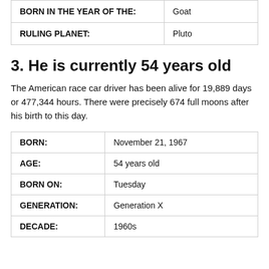| BORN IN THE YEAR OF THE: | Goat |
| RULING PLANET: | Pluto |
3. He is currently 54 years old
The American race car driver has been alive for 19,889 days or 477,344 hours. There were precisely 674 full moons after his birth to this day.
| BORN: | November 21, 1967 |
| AGE: | 54 years old |
| BORN ON: | Tuesday |
| GENERATION: | Generation X |
| DECADE: | 1960s |